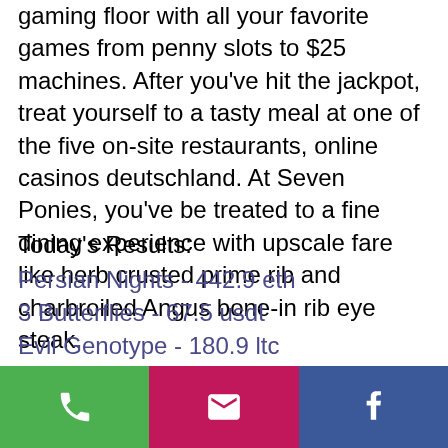gaming floor with all your favorite games from penny slots to $25 machines. After you've hit the jackpot, treat yourself to a tasty meal at one of the five on-site restaurants, online casinos deutschland. At Seven Ponies, you've be treated to a fine dining experience with upscale fare like herb crusted prime rib and charbroiled Angus bone-in rib eye steak.
Today's Results:
Persian Nights - 442.9 eth
3 Butterflies - 67.5 usdt
Evil Genotype - 180.9 ltc
Gung Pow - 319.2 usdt
King Queen - 63.5 ltc
Divine Fortune - 693.9 usdt
Persian Nights - 281.4 eth
Britain's Got Talent - 332.3 dog
Phone | Email | Facebook